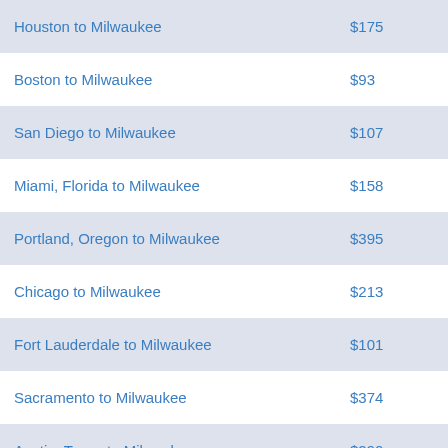| Route | Price |
| --- | --- |
| Houston to Milwaukee | $175 |
| Boston to Milwaukee | $93 |
| San Diego to Milwaukee | $107 |
| Miami, Florida to Milwaukee | $158 |
| Portland, Oregon to Milwaukee | $395 |
| Chicago to Milwaukee | $213 |
| Fort Lauderdale to Milwaukee | $101 |
| Sacramento to Milwaukee | $374 |
| Austin, Texas to Milwaukee | $290 |